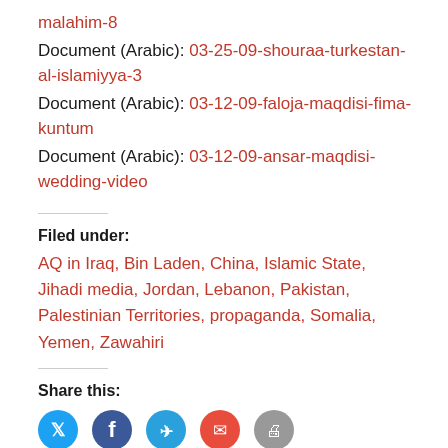malahim-8
Document (Arabic): 03-25-09-shouraa-turkestan-al-islamiyya-3
Document (Arabic): 03-12-09-faloja-maqdisi-fima-kuntum
Document (Arabic): 03-12-09-ansar-maqdisi-wedding-video
Filed under:
AQ in Iraq, Bin Laden, China, Islamic State, Jihadi media, Jordan, Lebanon, Pakistan, Palestinian Territories, propaganda, Somalia, Yemen, Zawahiri
Share this: